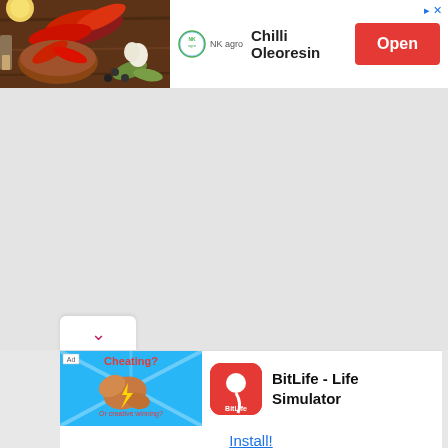[Figure (screenshot): Top advertisement banner showing NK Agro logo, 'Chilli Oleoresin' text, a red 'Open' button, and a food/spice image on the left]
[Figure (screenshot): Bottom advertisement card for BitLife - Life Simulator app with 'Cheating?' image, BitLife icon, and Install button]